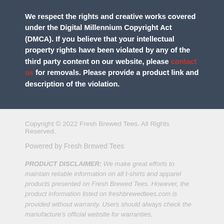We respect the rights and creative works covered under the Digital Millennium Copyright Act (DMCA). If you believe that your intellectual property rights have been violated by any of the third party content on our website, please contact us for removals. Please provide a product link and description of the violation.
Copyright © 2022 Fresh Brewed Tees. All Rights Reserved.
Powered by Fresh Brewed Tees
PRODUCT DISCLAIMER: We make great efforts to maintain reliable information on all t-shirts and apparel products presented on Fresh Brewed Tees. However, the product information listed on freshbrewedtees.com is provided without warranty. Users should always check the manufacture's official website for warranties,